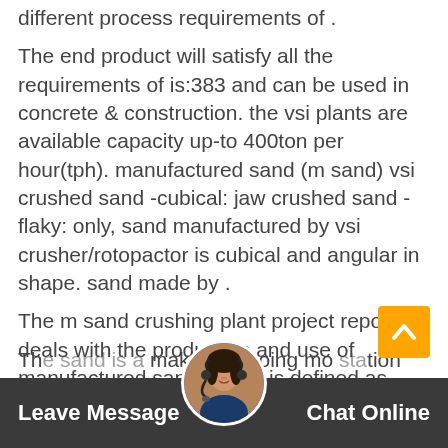different process requirements of .
The end product will satisfy all the requirements of is:383 and can be used in concrete & construction. the vsi plants are available capacity up-to 400ton per hour(tph). manufactured sand (m sand) vsi crushed sand -cubical: jaw crushed sand -flaky: only, sand manufactured by vsi crusher/rotopactor is cubical and angular in shape. sand made by .
The m sand crushing plant project report deals with the production and use of manufactured sand, which is defined as aggregate material less than 4 mm, processed from crushed rock or gravel, intended for construction use. the motivation for this project is the increased miss balance between the need for aggregates in the society and the need to.
The sand is a making doing mo station with
Leave Message   Chat Online